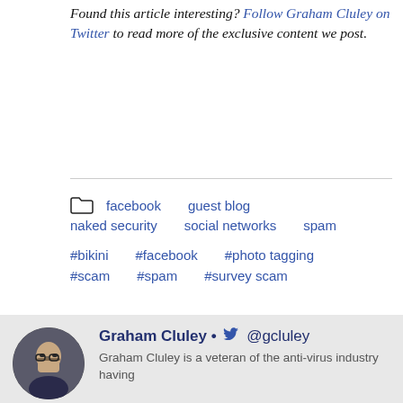Found this article interesting? Follow Graham Cluley on Twitter to read more of the exclusive content we post.
facebook
guest blog
naked security
social networks
spam
#bikini
#facebook
#photo tagging
#scam
#spam
#survey scam
Graham Cluley • @gcluley
Graham Cluley is a veteran of the anti-virus industry having worked for a number of security companies since the early 1990s when he wrote the first ever version of Dr Solomon's Anti-Virus